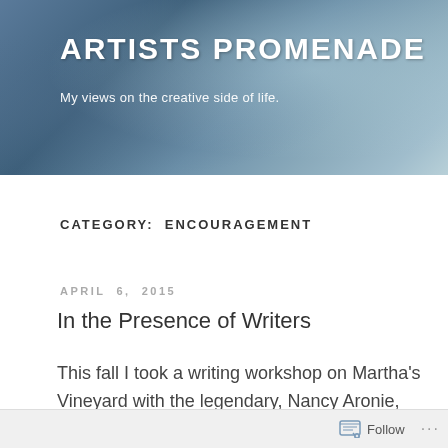ARTISTS PROMENADE
My views on the creative side of life.
CATEGORY: ENCOURAGEMENT
APRIL 6, 2015
In the Presence of Writers
This fall I took a writing workshop on Martha's Vineyard with the legendary, Nancy Aronie, who I have deemed a “Literary Guru”. As a writing teacher she
Follow